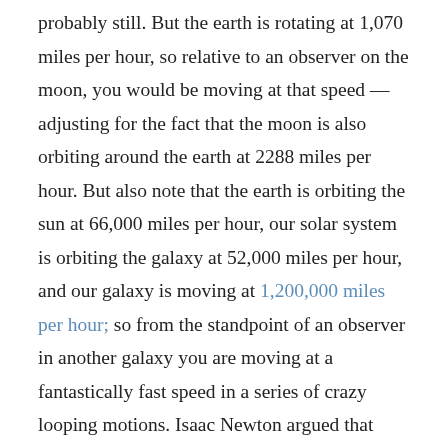probably still. But the earth is rotating at 1,070 miles per hour, so relative to an observer on the moon, you would be moving at that speed — adjusting for the fact that the moon is also orbiting around the earth at 2288 miles per hour. But also note that the earth is orbiting the sun at 66,000 miles per hour, our solar system is orbiting the galaxy at 52,000 miles per hour, and our galaxy is moving at 1,200,000 miles per hour; so from the standpoint of an observer in another galaxy you are moving at a fantastically fast speed in a series of crazy looping motions. Isaac Newton argued that there was an absolute position in space by which your true, objective speed could be measured. But Einstein dismissed that view, and the scientific consensus today is that Einstein was right — the answer to the question of how fast you are moving is relative to the location and speed of the observer.